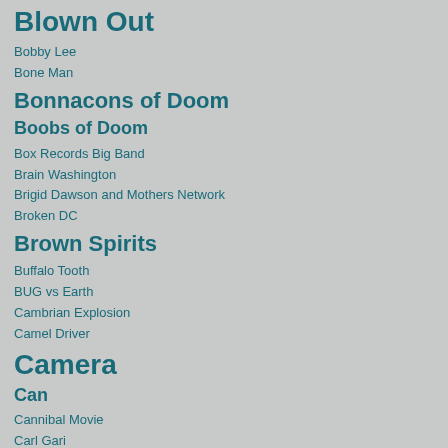Blown Out
Bobby Lee
Bone Man
Bonnacons of Doom
Boobs of Doom
Box Records Big Band
Brain Washington
Brigid Dawson and Mothers Network
Broken DC
Brown Spirits
Buffalo Tooth
BUG vs Earth
Cambrian Explosion
Camel Driver
Camera
Can
Cannibal Movie
Carl Gari
Carlton Melton
Carter Tutti Void